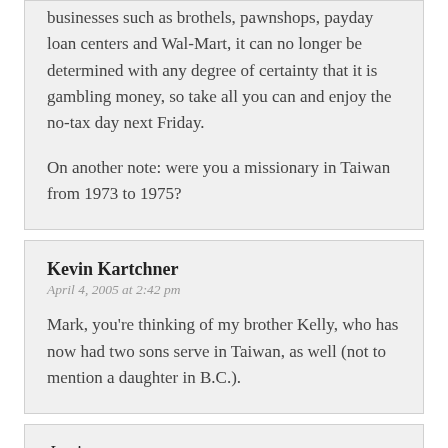businesses such as brothels, pawnshops, payday loan centers and Wal-Mart, it can no longer be determined with any degree of certainty that it is gambling money, so take all you can and enjoy the no-tax day next Friday.

On another note: were you a missionary in Taiwan from 1973 to 1975?
Kevin Kartchner
April 4, 2005 at 2:42 pm
Mark, you're thinking of my brother Kelly, who has now had two sons serve in Taiwan, as well (not to mention a daughter in B.C.).
Justin